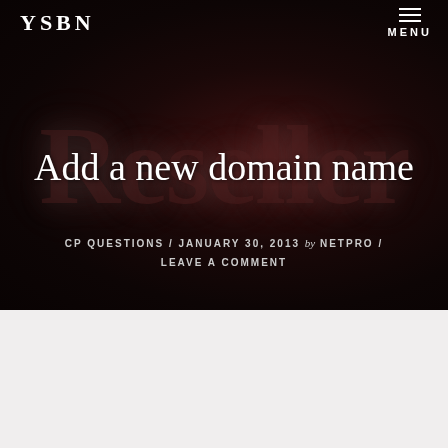YSBN
MENU
[Figure (screenshot): Dark hero background with large blurred serif text 'Reseller' overlaid in dark red tones]
Add a new domain name
CP QUESTIONS / JANUARY 30, 2013 by NETPRO / LEAVE A COMMENT